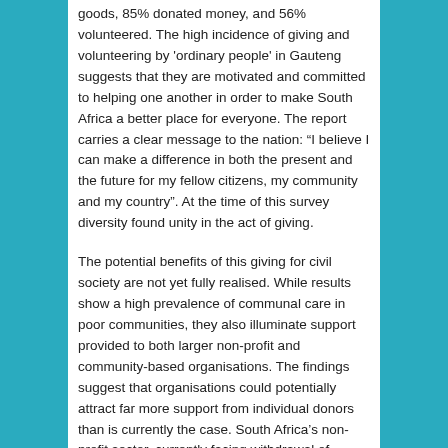goods, 85% donated money, and 56% volunteered. The high incidence of giving and volunteering by 'ordinary people' in Gauteng suggests that they are motivated and committed to helping one another in order to make South Africa a better place for everyone. The report carries a clear message to the nation: “I believe I can make a difference in both the present and the future for my fellow citizens, my community and my country”. At the time of this survey diversity found unity in the act of giving.
The potential benefits of this giving for civil society are not yet fully realised. While results show a high prevalence of communal care in poor communities, they also illuminate support provided to both larger non-profit and community-based organisations. The findings suggest that organisations could potentially attract far more support from individual donors than is currently the case. South Africa’s non-profit sector, currently facing withdrawal of international funding, could capture increased support from individual donors through improved communication